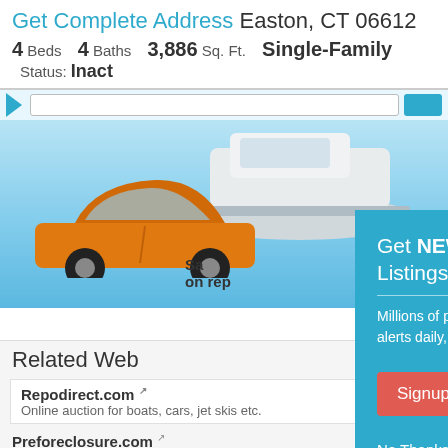Get Complete Address Easton, CT 06612
4 Beds  4 Baths  3,886 Sq. Ft.  Single-Family  Status: Inact
[Figure (screenshot): Advertisement showing an orange sports car and a white boat on a blue background with text 'Save on rep']
[Figure (infographic): Modal popup overlay on teal/blue background: 'Get NEW Foreclosure Listings sent to your inbox'. Subtitle: 'Millions of people receive foreclosure alerts daily, don't miss out.' Red 'Signup Here' button, white envelope icon, links 'No Thanks | Remind Me Later']
Related Web
Repodirect.com - Online auction for boats, cars, jet skis etc.
Preforeclosure.com